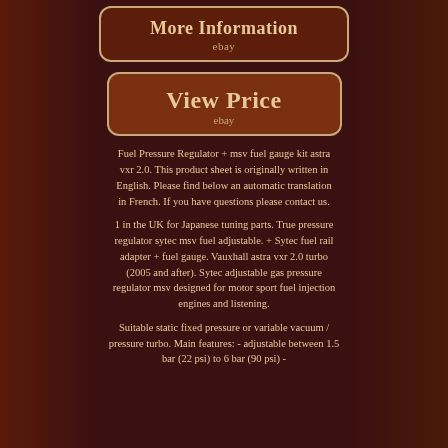[Figure (illustration): Side background images showing engine/car parts on left and right sides]
More Information
ebay
View Price
ebay
Fuel Pressure Regulator + msv fuel gauge kit astra vxr 2.0. This product sheet is originally written in English. Please find below an automatic translation in French. If you have questions please contact us.
1 in the UK for Japanese tuning parts. True pressure regulator sytec msv fuel adjustable. + Sytec fuel rail adapter + fuel gauge. Vauxhall astra vxr 2.0 turbo (2005 and after). Sytec adjustable gas pressure regulator msv designed for motor sport fuel injection engines and listening.
Suitable static fixed pressure or variable vacuum / pressure turbo. Main features: - adjustable between 1.5 bar (22 psi) to 6 bar (90 psi) -